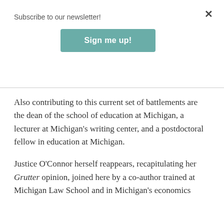Subscribe to our newsletter!
Sign me up!
Also contributing to this current set of battlements are the dean of the school of education at Michigan, a lecturer at Michigan’s writing center, and a postdoctoral fellow in education at Michigan.
Justice O’Connor herself reappears, recapitulating her Grutter opinion, joined here by a co-author trained at Michigan Law School and in Michigan’s economics